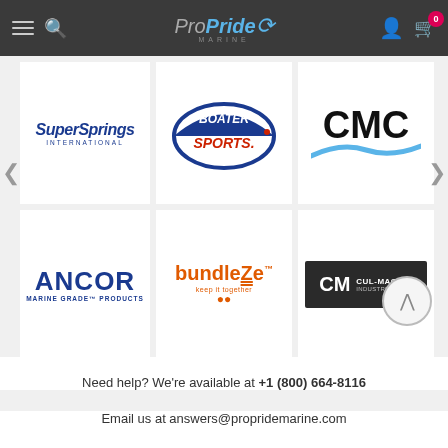Pro Pride Marine navigation header
[Figure (logo): SuperSprings International logo - blue italic text]
[Figure (logo): Boater Sports logo - red and blue arc design]
[Figure (logo): CMC logo - bold black letters with blue swoosh]
[Figure (logo): ANCOR Marine Grade Products logo - bold blue text]
[Figure (logo): BundeZe logo - orange text keep it together]
[Figure (logo): Cul-Mac Industries Inc logo - white text on dark background]
Need help? We're available at +1 (800) 664-8116
Email us at answers@propridemarine.com